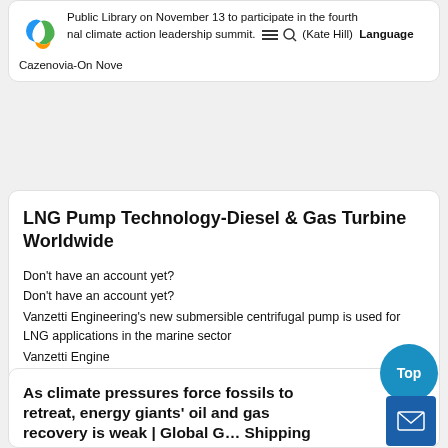Public Library on November 13 to participate in the fourth annual climate action leadership summit. (Kate Hill) Language Cazenovia-On Nove
LNG Pump Technology-Diesel & Gas Turbine Worldwide
Don't have an account yet?
Don't have an account yet?
Vanzetti Engineering's new submersible centrifugal pump is used for LNG applications in the marine sector
Vanzetti Engine
As climate pressures force fossils to retreat, energy giants' oil and gas recovery is weak | Global G… Shipping News
Although net zero demand and a faster shift to renewable